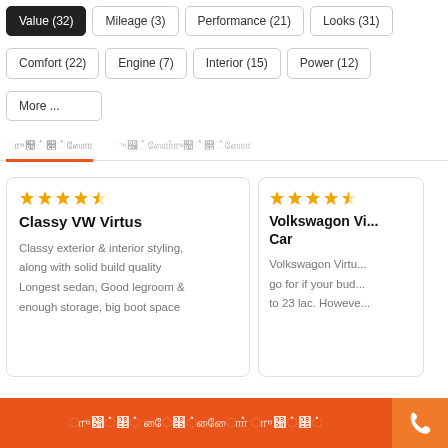Value (32) | Mileage (3) | Performance (21) | Looks (31)
Comfort (22) | Engine (7) | Interior (15) | Power (12)
More ...
ஆய்வுகள் | உங்கள்ஆய்வுகள்
Classy VW Virtus — ★★★★½ — Classy exterior & interior styling, along with solid build quality. Longest sedan, Good legroom & enough storage, big boot space
Volkswagen Vi... Car — ★★★★½ — Volkswagon Virtu... go for if your bud... to 23 lac. Howeve...
ஆடியோ பிளேயரை திறக்கவும் | phone